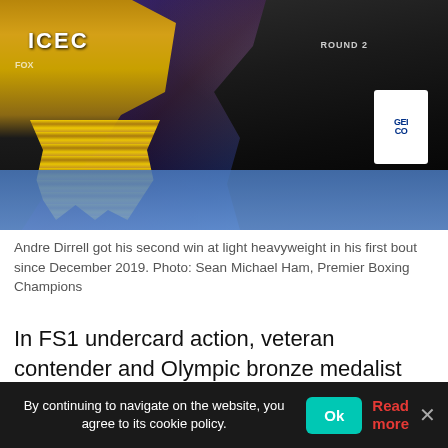[Figure (photo): Boxing match photo showing two boxers in the ring. The left boxer wears gold-fringed shorts with 'ICEC' visible, the right boxer in black shorts. A blue canvas and GEICO advertisement banner visible in background. Arena lighting in purple/dark tones.]
Andre Dirrell got his second win at light heavyweight in his first bout since December 2019. Photo: Sean Michael Ham, Premier Boxing Champions
In FS1 undercard action, veteran contender and Olympic bronze medalist Andre Dirrell of Flint, Michigan (28-3, 18 KOs) looked sharp in his second fight at light heavyweight, getting his second TKO win...
By continuing to navigate on the website, you agree to its cookie policy.